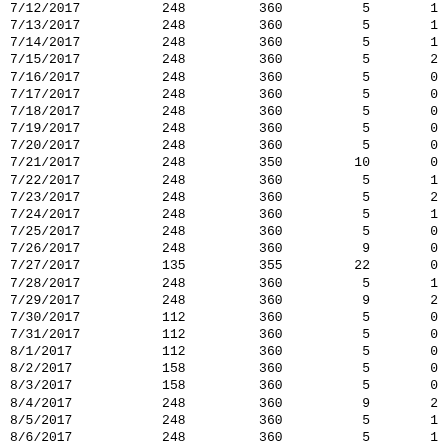| 7/12/2017 | 248 | 360 | 5 | 1 |
| 7/13/2017 | 248 | 360 | 5 | 1 |
| 7/14/2017 | 248 | 360 | 5 | 1 |
| 7/15/2017 | 248 | 360 | 5 | 2 |
| 7/16/2017 | 248 | 360 | 5 | 0 |
| 7/17/2017 | 248 | 360 | 5 | 0 |
| 7/18/2017 | 248 | 360 | 5 | 0 |
| 7/19/2017 | 248 | 360 | 5 | 0 |
| 7/20/2017 | 248 | 360 | 5 | 0 |
| 7/21/2017 | 248 | 350 | 10 | 0 |
| 7/22/2017 | 248 | 360 | 5 | 1 |
| 7/23/2017 | 248 | 360 | 5 | 2 |
| 7/24/2017 | 248 | 360 | 5 | 1 |
| 7/25/2017 | 248 | 360 | 5 | 0 |
| 7/26/2017 | 248 | 360 | 9 | 0 |
| 7/27/2017 | 135 | 355 | 22 | 0 |
| 7/28/2017 | 248 | 360 | 5 | 1 |
| 7/29/2017 | 248 | 360 | 9 | 2 |
| 7/30/2017 | 112 | 360 | 5 | 0 |
| 7/31/2017 | 112 | 360 | 5 | 0 |
| 8/1/2017 | 112 | 360 | 5 | 0 |
| 8/2/2017 | 158 | 360 | 5 | 0 |
| 8/3/2017 | 158 | 360 | 5 | 0 |
| 8/4/2017 | 248 | 360 | 9 | 2 |
| 8/5/2017 | 248 | 360 | 5 | 1 |
| 8/6/2017 | 248 | 360 | 5 | 1 |
| 8/7/2017 | 248 | 360 | 5 | 2 |
| 8/8/2017 | 248 | 360 | 5 | 1 |
| 8/9/2017 | 135 | 360 | 5 | 0 |
| 8/10/2017 | 248 | 360 | 5 | 0 |